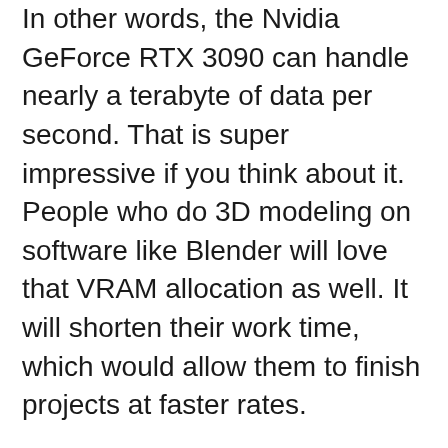In other words, the Nvidia GeForce RTX 3090 can handle nearly a terabyte of data per second. That is super impressive if you think about it. People who do 3D modeling on software like Blender will love that VRAM allocation as well. It will shorten their work time, which would allow them to finish projects at faster rates.
Also, it is built on the Nvidia Ampere architecture. It uses 82 Streaming Multiprocessors. So in total, the Nvidia GeForce RTX 3090 DirectX has 10,496 CUDA cores, along with 328 Tensor cores and 82 RT Cores.